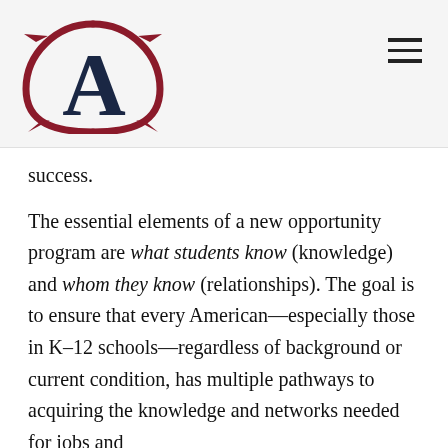[Figure (logo): Stylized letter A with compass/arrow decoration in dark navy and dark red, organization logo]
success.
The essential elements of a new opportunity program are what students know (knowledge) and whom they know (relationships). The goal is to ensure that every American—especially those in K–12 schools—regardless of background or current condition, has multiple pathways to acquiring the knowledge and networks needed for jobs and